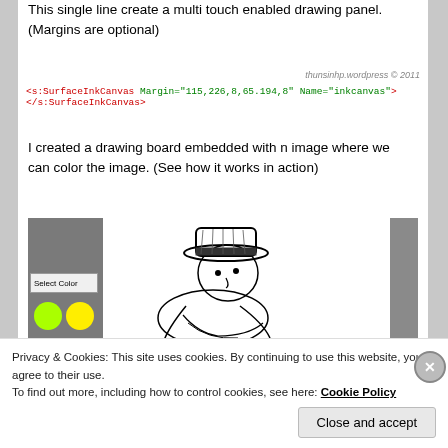This single line create a multi touch enabled drawing panel. (Margins are optional)
thunsinhp.wordpress © 2011
<s:SurfaceInkCanvas Margin="115,226,8,65.194,8" Name="inkcanvas"></s:SurfaceInkCanvas>
I created a drawing board embedded with n image where we can color the image. (See how it works in action)
[Figure (screenshot): Screenshot of a drawing board application showing a gray panel on the left with 'Select Color' button and two circular color swatches (green and yellow), and a cartoon figure (person in hat) on the right side drawing area, with a gray scrollbar on the far right.]
Privacy & Cookies: This site uses cookies. By continuing to use this website, you agree to their use.
To find out more, including how to control cookies, see here: Cookie Policy
Close and accept